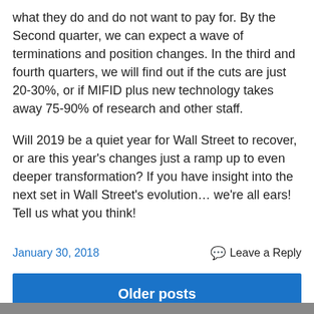what they do and do not want to pay for. By the Second quarter, we can expect a wave of terminations and position changes. In the third and fourth quarters, we will find out if the cuts are just 20-30%, or if MIFID plus new technology takes away 75-90% of research and other staff.
Will 2019 be a quiet year for Wall Street to recover, or are this year's changes just a ramp up to even deeper transformation? If you have insight into the next set in Wall Street's evolution… we're all ears! Tell us what you think!
January 30, 2018
Leave a Reply
Older posts